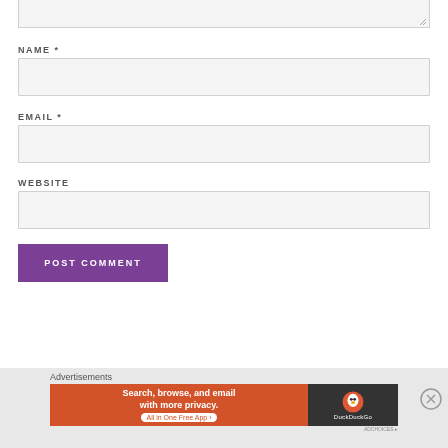NAME *
EMAIL *
WEBSITE
POST COMMENT
Advertisements
[Figure (screenshot): DuckDuckGo advertisement banner: 'Search, browse, and email with more privacy. All in One Free App']